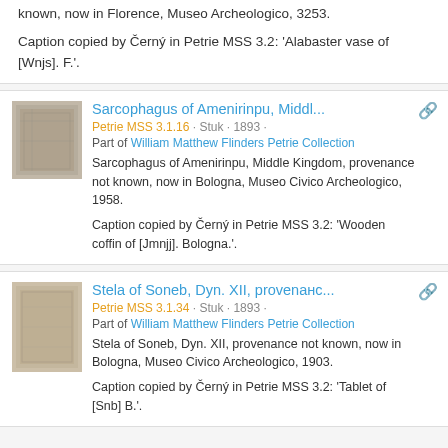known, now in Florence, Museo Archeologico, 3253.
Caption copied by Černý in Petrie MSS 3.2: 'Alabaster vase of [Wnjs]. F.'.
Sarcophagus of Amenirinpu, Middl...
Petrie MSS 3.1.16 · Stuk · 1893 ·
Part of William Matthew Flinders Petrie Collection
Sarcophagus of Amenirinpu, Middle Kingdom, provenance not known, now in Bologna, Museo Civico Archeologico, 1958.
Caption copied by Černý in Petrie MSS 3.2: 'Wooden coffin of [Jmnjj]. Bologna.'.
Stela of Soneb, Dyn. XII, provenанс...
Petrie MSS 3.1.34 · Stuk · 1893 ·
Part of William Matthew Flinders Petrie Collection
Stela of Soneb, Dyn. XII, provenance not known, now in Bologna, Museo Civico Archeologico, 1903.
Caption copied by Černý in Petrie MSS 3.2: 'Tablet of [Snb] B.'.